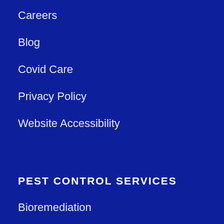Careers
Blog
Covid Care
Privacy Policy
Website Accessibility
PEST CONTROL SERVICES
Bioremediation
Hydretain